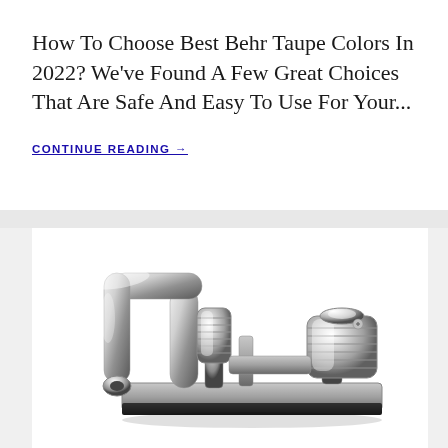How To Choose Best Behr Taupe Colors In 2022? We've Found A Few Great Choices That Are Safe And Easy To Use For Your...
CONTINUE READING →
[Figure (photo): Close-up photograph of a chrome dual-handle bathroom or laundry faucet with a curved spout and two lever handles, shown on a white background.]